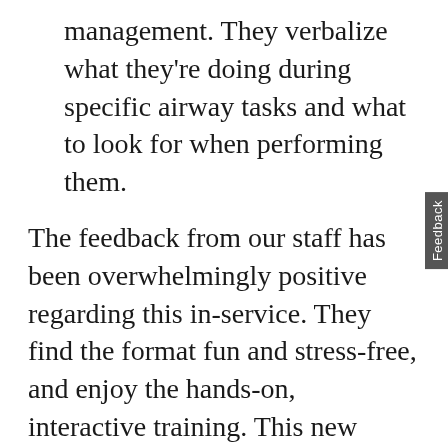management. They verbalize what they're doing during specific airway tasks and what to look for when performing them.
The feedback from our staff has been overwhelmingly positive regarding this in-service. They find the format fun and stress-free, and enjoy the hands-on, interactive training. This new approach has allowed me to gain a better understanding of our staff's skill level, their true competency and their comfort level with airway management.
Julie Castillo, MSN, RN, CPAN
PIH Health Downey (Calif.) Hospital
julie.castillo@pihhealth.org